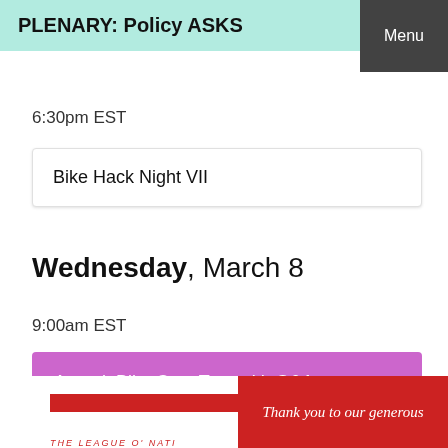PLENARY: Policy ASKS
Menu
6:30pm EST
Bike Hack Night VII
Wednesday, March 8
9:00am EST
Amtrak Bike Cars Tour with Q&A
[Figure (logo): The League of American Bicyclists logo with red bar and circular text]
Thank you to our generous